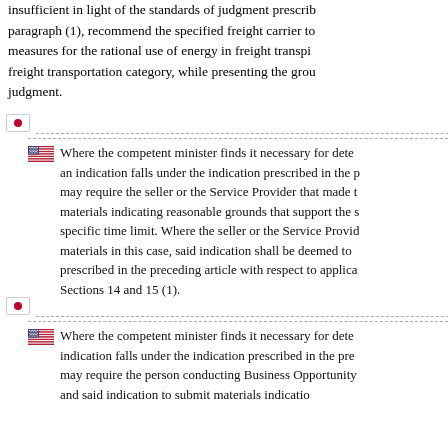insufficient in light of the standards of judgment prescribed in paragraph (1), recommend the specified freight carrier to take measures for the rational use of energy in freight transpiration freight transportation category, while presenting the grounds of judgment.
[Japanese text] Where the competent minister finds it necessary for determining whether an indication falls under the indication prescribed in the preceding article, may require the seller or the Service Provider that made the indication materials indicating reasonable grounds that support the said indication by specific time limit. Where the seller or the Service Provider fails to submit materials in this case, said indication shall be deemed to fall under the prescribed in the preceding article with respect to applicable provisions of Sections 14 and 15 (1).
[Japanese text] Where the competent minister finds it necessary for determining whether an indication falls under the indication prescribed in the preceding article, may require the person conducting Business Opportunity and said indication to submit materials indicating...